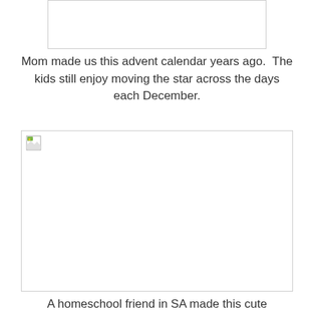[Figure (photo): Partial image visible at top of page, mostly white/blank, bordered box]
Mom made us this advent calendar years ago.  The kids still enjoy moving the star across the days each December.
[Figure (photo): Large bordered image placeholder showing broken image icon in top-left corner]
A homeschool friend in SA made this cute snowman